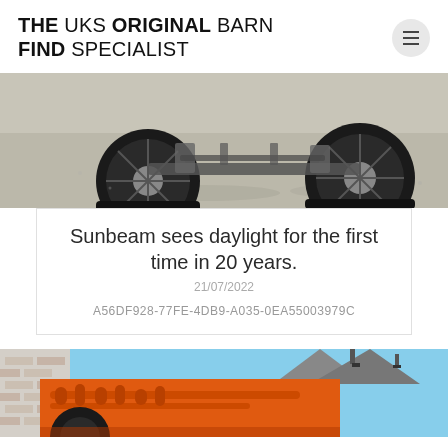THE UKS ORIGINAL BARN FIND SPECIALIST
[Figure (photo): Close-up photo of vintage car chassis/undercarriage showing wheels and suspension on gravel surface]
Sunbeam sees daylight for the first time in 20 years.
21/07/2022
A56DF928-77FE-4DB9-A035-0EA55003979C
[Figure (photo): Partial photo showing orange/red vintage vehicle or machinery being transported, with brick building and rooftops in background]